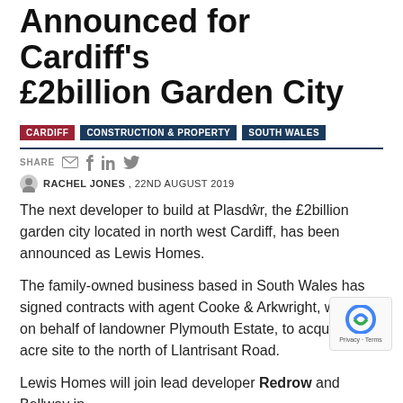Next Developer Announced for Cardiff's £2billion Garden City
CARDIFF
CONSTRUCTION & PROPERTY
SOUTH WALES
SHARE
RACHEL JONES , 22ND AUGUST 2019
The next developer to build at Plasdŵr, the £2billion garden city located in north west Cardiff, has been announced as Lewis Homes.
The family-owned business based in South Wales has signed contracts with agent Cooke & Arkwright, working on behalf of landowner Plymouth Estate, to acquire a 3-acre site to the north of Llantrisant Road.
Lewis Homes will join lead developer Redrow and Bellway in